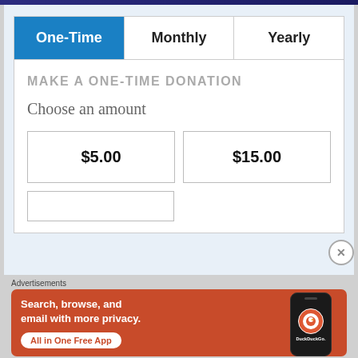One-Time | Monthly | Yearly
MAKE A ONE-TIME DONATION
Choose an amount
$5.00
$15.00
Advertisements
[Figure (infographic): DuckDuckGo advertisement banner: orange background, text 'Search, browse, and email with more privacy. All in One Free App', DuckDuckGo logo and phone mockup on the right]